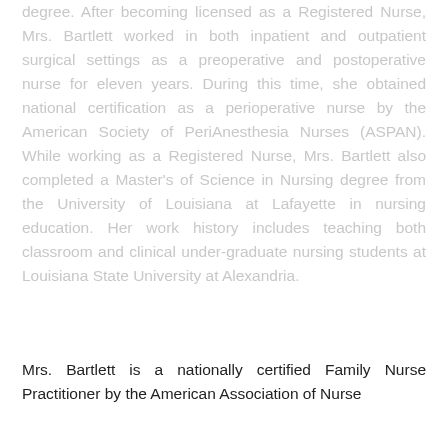degree. After becoming licensed as a Registered Nurse, Mrs. Bartlett worked in both inpatient and outpatient surgical settings as a preoperative and postoperative nurse for eleven years. During this time, she obtained national certification as a perioperative nurse by the American Society of PeriAnesthesia Nurses (ASPAN). While working as a Registered Nurse, Mrs. Bartlett also completed a Master's of Science in Nursing degree from the University of Louisiana at Lafayette in nursing education. Her work history includes teaching both classroom and clinical under-graduate nursing students at Louisiana State University at Alexandria.
Mrs. Bartlett is a nationally certified Family Nurse Practitioner by the American Association of Nurse